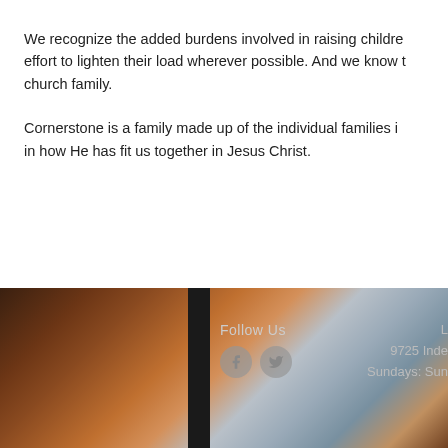We recognize the added burdens involved in raising childre... effort to lighten their load wherever possible. And we know t... church family.
Cornerstone is a family made up of the individual families i... in how He has fit us together in Jesus Christ.
[Figure (photo): Background photo of dramatic cloudy sunset sky with warm orange and cool blue-grey tones, with a dark vertical divider bar. Footer area showing 'Follow Us' text with Facebook and Twitter icons on the left, and address/schedule info on the right.]